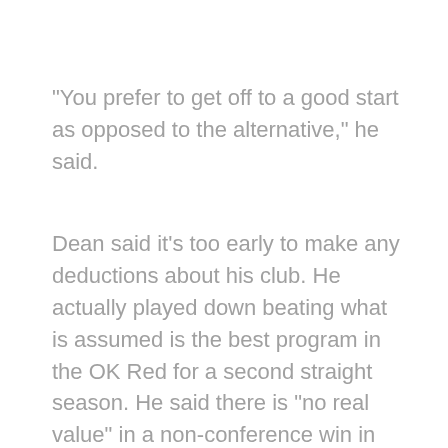"You prefer to get off to a good start as opposed to the alternative," he said.
Dean said it’s too early to make any deductions about his club. He actually played down beating what is assumed is the best program in the OK Red for a second straight season. He said there is “no real value” in a non-conference win in the season’s second week.